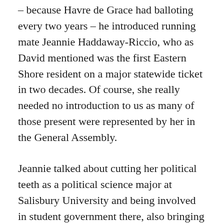– because Havre de Grace had balloting every two years – he introduced running mate Jeannie Haddaway-Riccio, who as David mentioned was the first Eastern Shore resident on a major statewide ticket in two decades. Of course, she really needed no introduction to us as many of those present were represented by her in the General Assembly.
Jeannie talked about cutting her political teeth as a political science major at Salisbury University and being involved in student government there, also bringing up the fact later that she strives to preach political involvement to area youth groups such as Girls State, which is annually held at SU.